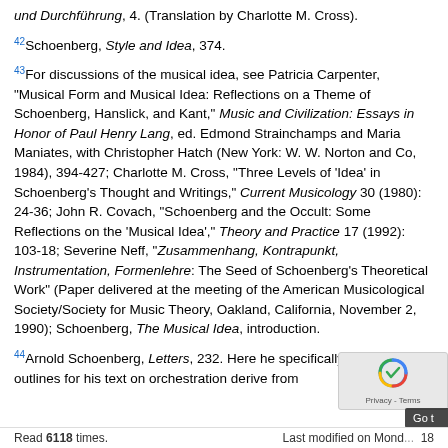und Durchführung, 4. (Translation by Charlotte M. Cross).
42 Schoenberg, Style and Idea, 374.
43 For discussions of the musical idea, see Patricia Carpenter, "Musical Form and Musical Idea: Reflections on a Theme of Schoenberg, Hanslick, and Kant," Music and Civilization: Essays in Honor of Paul Henry Lang, ed. Edmond Strainchamps and Maria Maniates, with Christopher Hatch (New York: W. W. Norton and Co, 1984), 394-427; Charlotte M. Cross, "Three Levels of 'Idea' in Schoenberg's Thought and Writings," Current Musicology 30 (1980): 24-36; John R. Covach, "Schoenberg and the Occult: Some Reflections on the 'Musical Idea'," Theory and Practice 17 (1992): 103-18; Severine Neff, "Zusammenhang, Kontrapunkt, Instrumentation, Formenlehre: The Seed of Schoenberg's Theoretical Work" (Paper delivered at the meeting of the American Musicological Society/Society for Music Theory, Oakland, California, November 2, 1990); Schoenberg, The Musical Idea, introduction.
44 Arnold Schoenberg, Letters, 232. Here he specifically s[tates] that outlines for his text on orchestration derive from[...]
Read 6118 times.    Last modified on Mond... 18